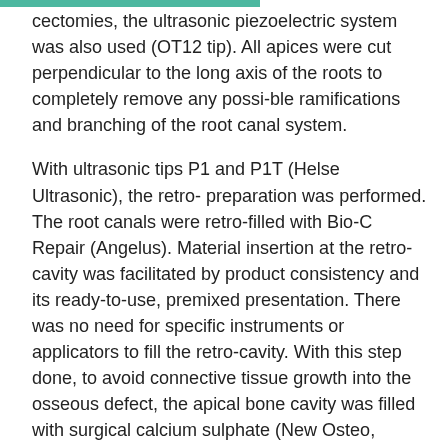cectomies, the ultrasonic piezoelectric system was also used (OT12 tip). All apices were cut perpendicular to the long axis of the roots to completely remove any possi-ble ramifications and branching of the root canal system.
With ultrasonic tips P1 and P1T (Helse Ultrasonic), the retro- preparation was performed. The root canals were retro-filled with Bio-C Repair (Angelus). Material insertion at the retro- cavity was facilitated by product consistency and its ready-to-use, premixed presentation. There was no need for specific instruments or applicators to fill the retro-cavity. With this step done, to avoid connective tissue growth into the osseous defect, the apical bone cavity was filled with surgical calcium sulphate (New Osteo, GMReis; Fig. 5). Postoperative images were obtained at baseline and at four months, when it was possible to observe complete bone repair (Figs. 6–12).